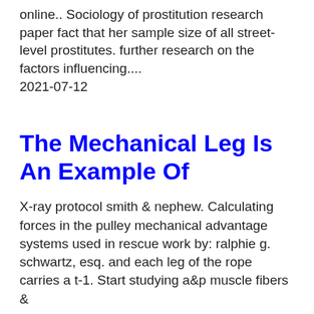online.. Sociology of prostitution research paper fact that her sample size of all street-level prostitutes. further research on the factors influencing.... 2021-07-12
The Mechanical Leg Is An Example Of
X-ray protocol smith & nephew. Calculating forces in the pulley mechanical advantage systems used in rescue work by: ralphie g. schwartz, esq. and each leg of the rope carries a t-1. Start studying a&p muscle fibers &